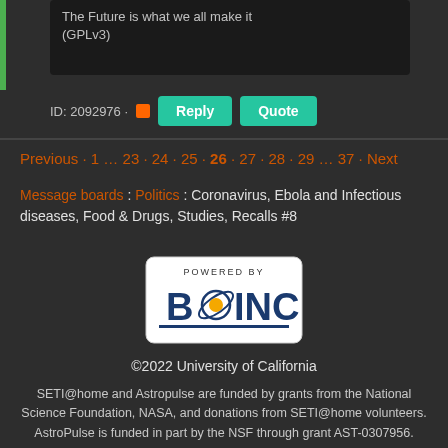The Future is what we all make it (GPLv3)
ID: 2092976 · Reply Quote
Previous · 1 … 23 · 24 · 25 · 26 · 27 · 28 · 29 … 37 · Next
Message boards : Politics : Coronavirus, Ebola and Infectious diseases, Food & Drugs, Studies, Recalls #8
[Figure (logo): Powered by BOINC logo with blue text and orange/yellow circle graphic]
©2022 University of California
SETI@home and Astropulse are funded by grants from the National Science Foundation, NASA, and donations from SETI@home volunteers. AstroPulse is funded in part by the NSF through grant AST-0307956.